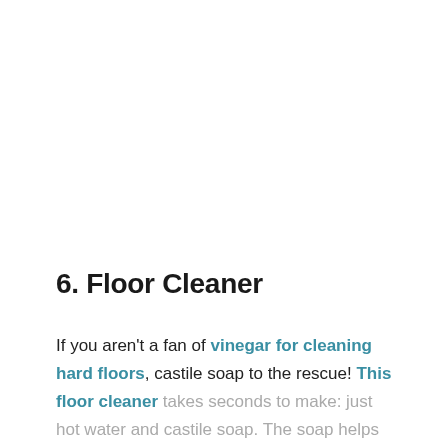6. Floor Cleaner
If you aren't a fan of vinegar for cleaning hard floors, castile soap to the rescue! This floor cleaner takes seconds to make: just hot water and castile soap. The soap helps lift dirt and bacteria from hard